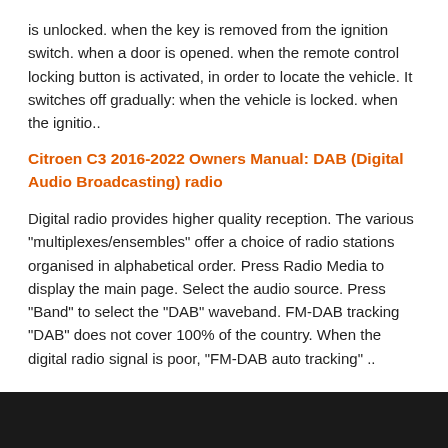is unlocked. when the key is removed from the ignition switch. when a door is opened. when the remote control locking button is activated, in order to locate the vehicle. It switches off gradually: when the vehicle is locked. when the ignitio..
Citroen C3 2016-2022 Owners Manual: DAB (Digital Audio Broadcasting) radio
Digital radio provides higher quality reception. The various "multiplexes/ensembles" offer a choice of radio stations organised in alphabetical order. Press Radio Media to display the main page. Select the audio source. Press "Band" to select the "DAB" waveband. FM-DAB tracking “DAB” does not cover 100% of the country. When the digital radio signal is poor, “FM-DAB auto tracking” ..